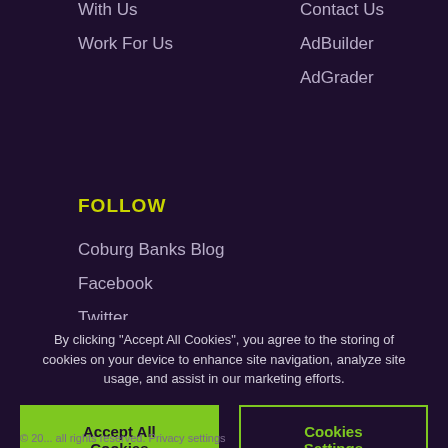With Us
Work For Us
Contact Us
AdBuilder
AdGrader
FOLLOW
Coburg Banks Blog
Facebook
Twitter
LinkedIn
Google Plus
By clicking "Accept All Cookies", you agree to the storing of cookies on your device to enhance site navigation, analyze site usage, and assist in our marketing efforts.
Accept All Cookies
Cookies Settings
© 20... all rights reserved. Privacy settings